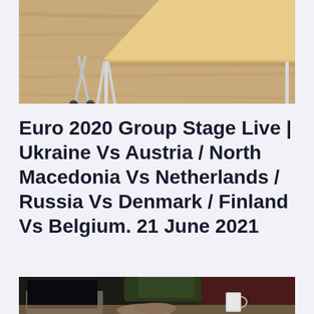[Figure (photo): Overhead view of a wooden desk with metal legs and a chair on a light wood floor]
Euro 2020 Group Stage Live | Ukraine Vs Austria / North Macedonia Vs Netherlands / Russia Vs Denmark / Finland Vs Belgium. 21 June 2021
[Figure (photo): Person using a laptop computer at a desk, with a mug nearby, blurred/bokeh background]